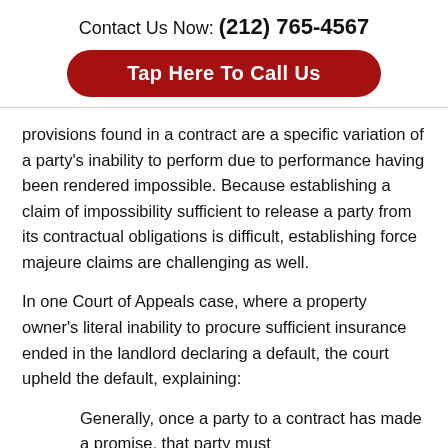Contact Us Now: (212) 765-4567
Tap Here To Call Us
provisions found in a contract are a specific variation of a party's inability to perform due to performance having been rendered impossible. Because establishing a claim of impossibility sufficient to release a party from its contractual obligations is difficult, establishing force majeure claims are challenging as well.
In one Court of Appeals case, where a property owner's literal inability to procure sufficient insurance ended in the landlord declaring a default, the court upheld the default, explaining:
Generally, once a party to a contract has made a promise, that party must